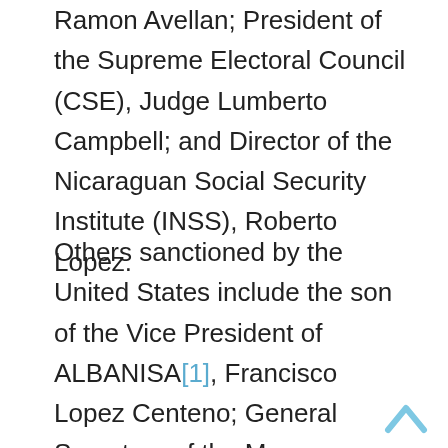Ramon Avellan; President of the Supreme Electoral Council (CSE), Judge Lumberto Campbell; and Director of the Nicaraguan Social Security Institute (INSS), Roberto Lopez.
Others sanctioned by the United States include the son of the Vice President of ALBANISA[1], Francisco Lopez Centeno; General Secretary of the Managua Mayor's Office, Fidel Moreno; Director General of the National Police, Francisco Diaz; another son of the presidential couple, Laureano Ortega Murillo; former Health